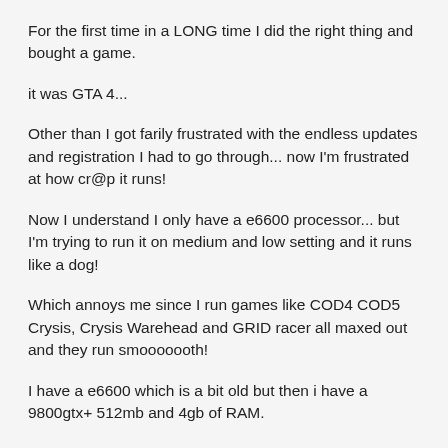For the first time in a LONG time I did the right thing and bought a game.
it was GTA 4...
Other than I got farily frustrated with the endless updates and registration I had to go through... now I'm frustrated at how cr@p it runs!
Now I understand I only have a e6600 processor... but I'm trying to run it on medium and low setting and it runs like a dog!
Which annoys me since I run games like COD4 COD5 Crysis, Crysis Warehead and GRID racer all maxed out and they run smooooooth!
I have a e6600 which is a bit old but then i have a 9800gtx+ 512mb and 4gb of RAM.
I downloaded the patch which I will install tonight